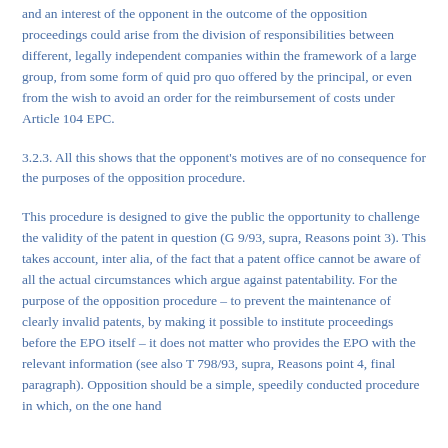and an interest of the opponent in the outcome of the opposition proceedings could arise from the division of responsibilities between different, legally independent companies within the framework of a large group, from some form of quid pro quo offered by the principal, or even from the wish to avoid an order for the reimbursement of costs under Article 104 EPC.
3.2.3. All this shows that the opponent's motives are of no consequence for the purposes of the opposition procedure.
This procedure is designed to give the public the opportunity to challenge the validity of the patent in question (G 9/93, supra, Reasons point 3). This takes account, inter alia, of the fact that a patent office cannot be aware of all the actual circumstances which argue against patentability. For the purpose of the opposition procedure – to prevent the maintenance of clearly invalid patents, by making it possible to institute proceedings before the EPO itself – it does not matter who provides the EPO with the relevant information (see also T 798/93, supra, Reasons point 4, final paragraph). Opposition should be a simple, speedily conducted procedure in which, on the one hand